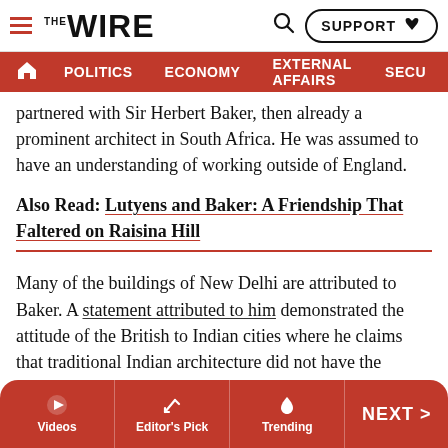THE WIRE — SUPPORT | POLITICS | ECONOMY | EXTERNAL AFFAIRS | SECU...
partnered with Sir Herbert Baker, then already a prominent architect in South Africa. He was assumed to have an understanding of working outside of England.
Also Read: Lutyens and Baker: A Friendship That Faltered on Raisina Hill
Many of the buildings of New Delhi are attributed to Baker. A statement attributed to him demonstrated the attitude of the British to Indian cities where he claims that traditional Indian architecture did not have the “constructive and geometric quality necessary to embody the idea of law and order which had been produced out of chaos by the British administration.”
Videos | Editor's Pick | Trending | NEXT >